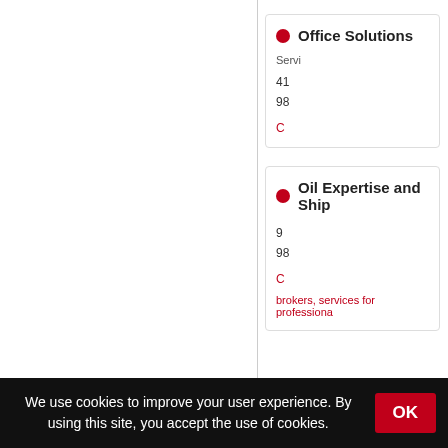Office Solutions
Servi...
41...
98...
C...
Oil Expertise and Ship...
9...
98...
C...
brokers, services for professiona...
We use cookies to improve your user experience. By using this site, you accept the use of cookies.